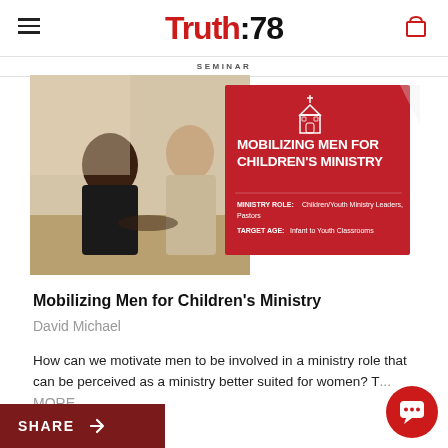Truth:78
SEMINAR
[Figure (photo): Product image for 'Mobilizing Men for Children's Ministry' seminar. Left side shows two men sitting at a table in conversation. Right side shows a red card with a church icon and the text: MOBILIZING MEN FOR CHILDREN'S MINISTRY. MINISTRY ROLE: Children/Youth Ministry Leaders, Pastors. TARGET AGE: Infant to Youth Classrooms.]
Mobilizing Men for Children's Ministry
David Michael
How can we motivate men to be involved in a ministry role that can be perceived as a ministry better suited for women? T... MORE